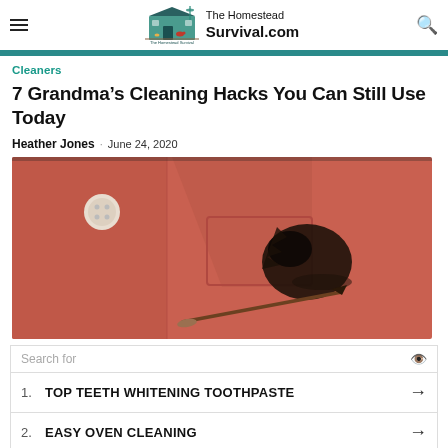The Homestead Survival.com
Cleaners
7 Grandma’s Cleaning Hacks You Can Still Use Today
Heather Jones · June 24, 2020
[Figure (photo): Close-up of a coral/salmon-colored shirt with a large dark ink stain near the chest pocket, and a paint brush resting on the fabric near the stain.]
[Figure (other): Advertisement block with search bar, two sponsored results: 1. TOP TEETH WHITENING TOOTHPASTE, 2. EASY OVEN CLEANING, with arrow icons.]